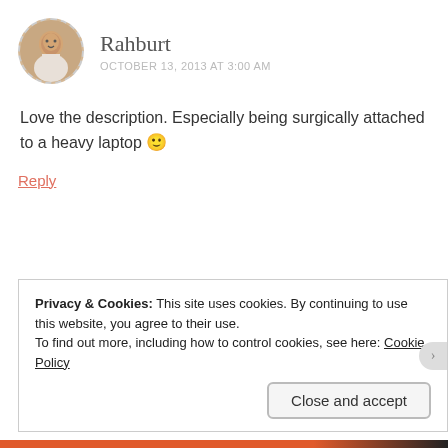Rahburt
OCTOBER 13, 2013 AT 3:00 AM
Love the description. Especially being surgically attached to a heavy laptop 🙂
Reply
michellejoycebond
OCTOBER 13, 2013 AT 3:22 PM
Privacy & Cookies: This site uses cookies. By continuing to use this website, you agree to their use. To find out more, including how to control cookies, see here: Cookie Policy
Close and accept